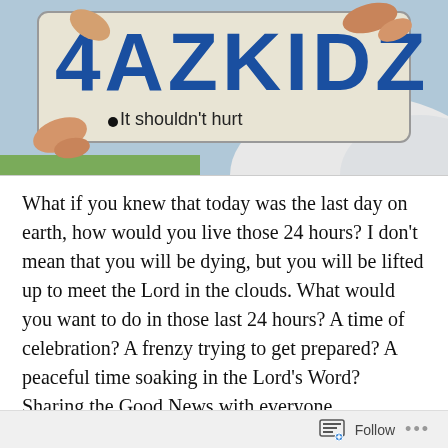[Figure (illustration): Illustrated image showing a license plate reading '4AZKIDZ' with hands reaching toward it and text below reading 'It shouldn't hurt']
What if you knew that today was the last day on earth, how would you live those 24 hours? I don't mean that you will be dying, but you will be lifted up to meet the Lord in the clouds. What would you want to do in those last 24 hours? A time of celebration? A frenzy trying to get prepared? A peaceful time soaking in the Lord's Word? Sharing the Good News with everyone, everywhere around you? Chasing down all the people that you know never gave their life to Jesus? Doing all the things that are still on your bucket list?
Follow ...